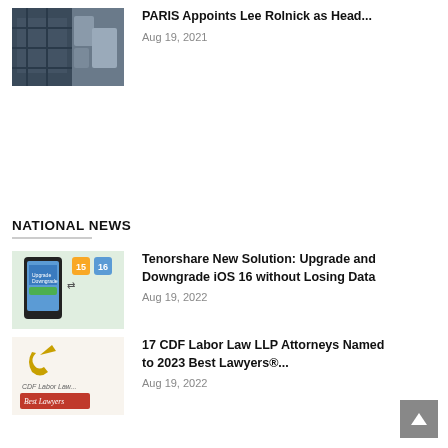[Figure (photo): Thumbnail image of home/lifestyle products with dark plaid fabric and small objects]
PARIS Appoints Lee Rolnick as Head...
Aug 19, 2021
NATIONAL NEWS
[Figure (photo): Thumbnail image of a smartphone showing Tenorshare Upgrade/Downgrade app with blue/yellow phone graphic]
Tenorshare New Solution: Upgrade and Downgrade iOS 16 without Losing Data
Aug 19, 2022
[Figure (logo): CDF Labor Law logo with Best Lawyers badge]
17 CDF Labor Law LLP Attorneys Named to 2023 Best Lawyers®...
Aug 19, 2022